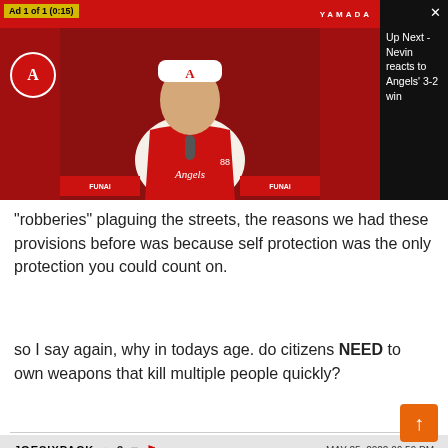[Figure (screenshot): Video player showing an Angels baseball press conference thumbnail on the left, and an 'Up Next - Nevin reacts to Angels 3-2 win' panel on the right with a close button. Ad label reads 'Ad 1 of 1 (0:15)'.]
"robberies" plaguing the streets, the reasons we had these provisions before was because self protection was the only protection you could count on.

so I say again, why in todays age. do citizens NEED to own weapons that kill multiple people quickly?
JOESIXPACK  ▲3  ▼  🚩  MAY 25, 2022 06:59 PM
EDNEY,
If the weapons referred to in the 2nd amendment have expanded, so can the use